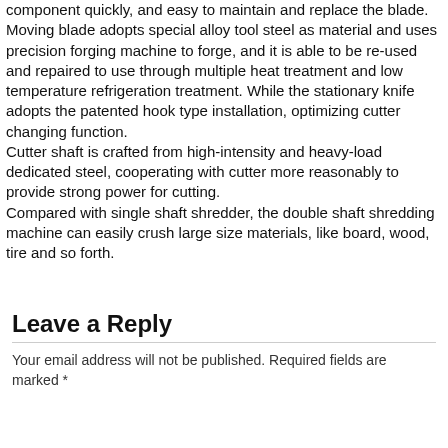component quickly, and easy to maintain and replace the blade. Moving blade adopts special alloy tool steel as material and uses precision forging machine to forge, and it is able to be re-used and repaired to use through multiple heat treatment and low temperature refrigeration treatment. While the stationary knife adopts the patented hook type installation, optimizing cutter changing function. Cutter shaft is crafted from high-intensity and heavy-load dedicated steel, cooperating with cutter more reasonably to provide strong power for cutting. Compared with single shaft shredder, the double shaft shredding machine can easily crush large size materials, like board, wood, tire and so forth.
Leave a Reply
Your email address will not be published. Required fields are marked *
[Figure (infographic): Blue footer bar with 5 icon buttons: phone, Skype, WeChat, WhatsApp, email]